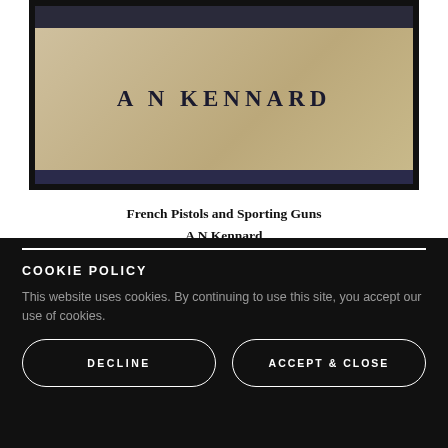[Figure (photo): Close-up photo of a book spine/cover with text 'A N KENNARD' in large serif letters on a tan/beige background with dark navy binding at the bottom.]
French Pistols and Sporting Guns
A N Kennard
£3.00
COOKIE POLICY
This website uses cookies. By continuing to use this site, you accept our use of cookies.
DECLINE
ACCEPT & CLOSE